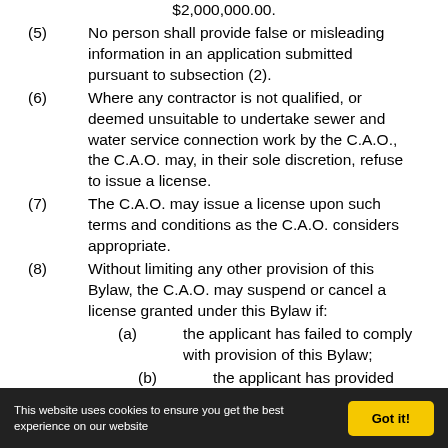$2,000,000.00.
(5) No person shall provide false or misleading information in an application submitted pursuant to subsection (2).
(6) Where any contractor is not qualified, or deemed unsuitable to undertake sewer and water service connection work by the C.A.O., the C.A.O. may, in their sole discretion, refuse to issue a license.
(7) The C.A.O. may issue a license upon such terms and conditions as the C.A.O. considers appropriate.
(8) Without limiting any other provision of this Bylaw, the C.A.O. may suspend or cancel a license granted under this Bylaw if:
(a) the applicant has failed to comply with provision of this Bylaw;
(b) the applicant has provided false or misleading information in
This website uses cookies to ensure you get the best experience on our website